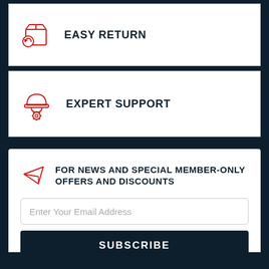[Figure (illustration): Red line-art icon of a box with a return arrow]
EASY RETURN
[Figure (illustration): Red line-art icon of a hard hat with a gear]
EXPERT SUPPORT
[Figure (illustration): Red line-art paper airplane / send icon]
FOR NEWS AND SPECIAL MEMBER-ONLY OFFERS AND DISCOUNTS
Enter Your Email Address
SUBSCRIBE
I have read and agree to  Terms & Conditions  &  Privacy Policy.